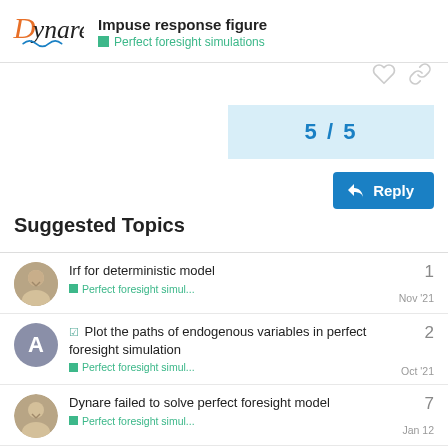Impuse response figure — Perfect foresight simulations
5 / 5
Reply
Suggested Topics
Irf for deterministic model — Perfect foresight simul... — Nov '21 — 1
☑ Plot the paths of endogenous variables in perfect foresight simulation — Perfect foresight simul... — Oct '21 — 2
Dynare failed to solve perfect foresight model — Perfect foresight simul... — Jan 12 — 7